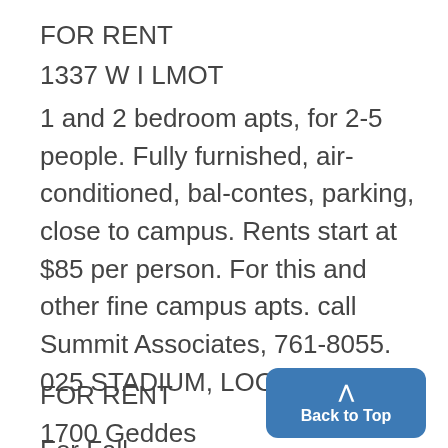FOR RENT
1337 W I LMOT
1 and 2 bedroom apts, for 2-5 people. Fully furnished, air-conditioned, balcontes, parking, close to campus. Rents start at $85 per person. For this and other fine campus apts. call Summit Associates, 761-8055. 025 STADIUM, LOCATION -
FOR RENT
1700 Geddes
For Fall